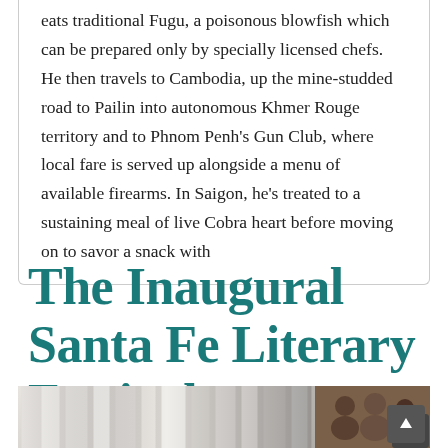eats traditional Fugu, a poisonous blowfish which can be prepared only by specially licensed chefs. He then travels to Cambodia, up the mine-studded road to Pailin into autonomous Khmer Rouge territory and to Phnom Penh's Gun Club, where local fare is served up alongside a menu of available firearms. In Saigon, he's treated to a sustaining meal of live Cobra heart before moving on to savor a snack with
The Inaugural Santa Fe Literary Festival was a huge success!
[Figure (photo): Two-panel photo strip: left panel shows books or white vertical shapes (likely book spines), right panel shows a group of people.]